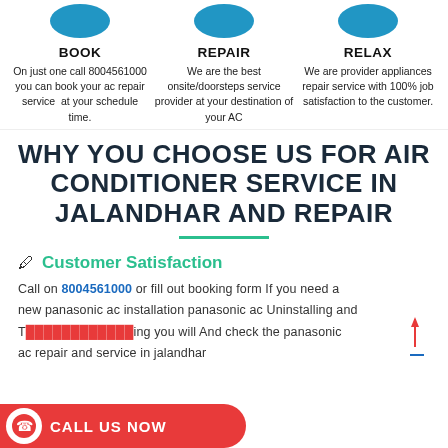[Figure (illustration): Three circular blue icons at top, one for each column: BOOK, REPAIR, RELAX]
BOOK
On just one call 8004561000 you can book your ac repair service at your schedule time.
REPAIR
We are the best onsite/doorsteps service provider at your destination of your AC
RELAX
We are provider appliances repair service with 100% job satisfaction to the customer.
WHY YOU CHOOSE US FOR AIR CONDITIONER SERVICE IN JALANDHAR AND REPAIR
Customer Satisfaction
Call on 8004561000 or fill out booking form If you need a new panasonic ac installation panasonic ac Uninstalling and T... ing you will And check the panasonic ac repair and service in jalandhar